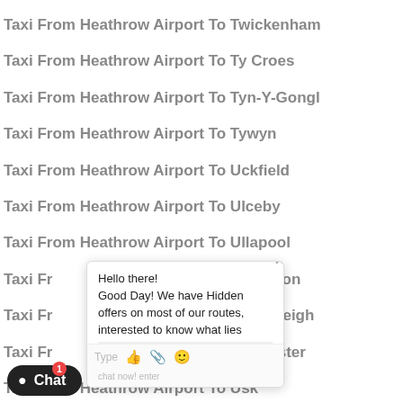Taxi From Heathrow Airport To Twickenham
Taxi From Heathrow Airport To Ty Croes
Taxi From Heathrow Airport To Tyn-Y-Gongl
Taxi From Heathrow Airport To Tywyn
Taxi From Heathrow Airport To Uckfield
Taxi From Heathrow Airport To Ulceby
Taxi From Heathrow Airport To Ullapool
Taxi From Heathrow Airport To Ulverston
Taxi From Heathrow Airport To Umberleigh
Taxi From Heathrow Airport To Upminster
Taxi From Heathrow Airport To Usk
Taxi From Heathrow Airport To Uttoxeter